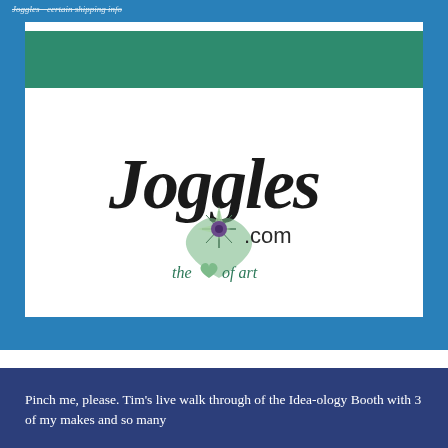Joggles - certain shipping info
[Figure (logo): Joggles.com logo with decorative script text 'Joggles' in black, a green heart shape with a starburst/compass rose emblem containing a purple circle center, '.com' text, and tagline 'the heart of art' in teal/green below, all on white background with teal header bar above]
Pinch me, please. Tim's live walk through of the Idea-ology Booth with 3 of my makes and so many